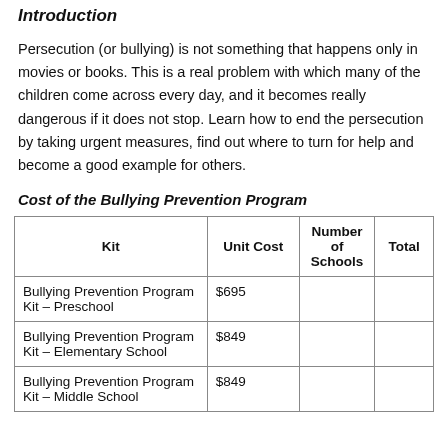Introduction
Persecution (or bullying) is not something that happens only in movies or books. This is a real problem with which many of the children come across every day, and it becomes really dangerous if it does not stop. Learn how to end the persecution by taking urgent measures, find out where to turn for help and become a good example for others.
Cost of the Bullying Prevention Program
| Kit | Unit Cost | Number of Schools | Total |
| --- | --- | --- | --- |
| Bullying Prevention Program Kit – Preschool | $695 |  |  |
| Bullying Prevention Program Kit – Elementary School | $849 |  |  |
| Bullying Prevention Program Kit – Middle School | $849 |  |  |